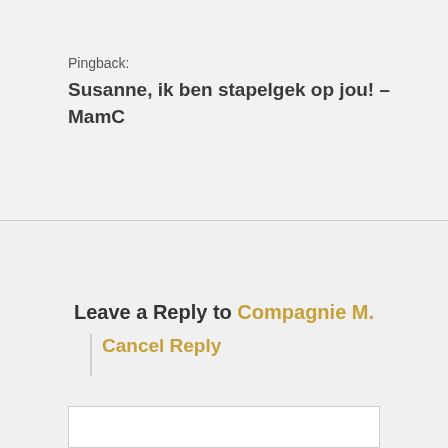Pingback:
Susanne, ik ben stapelgek op jou! – MamC
Leave a Reply to Compagnie M. Cancel Reply